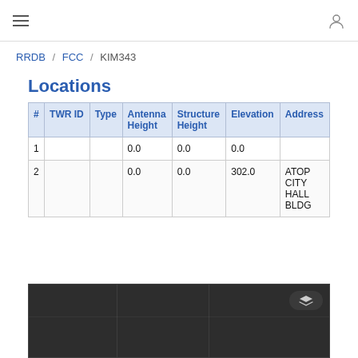≡  [user icon]
RRDB / FCC / KIM343
Locations
| # | TWR ID | Type | Antenna Height | Structure Height | Elevation | Address |
| --- | --- | --- | --- | --- | --- | --- |
| 1 |  |  | 0.0 | 0.0 | 0.0 |  |
| 2 |  |  | 0.0 | 0.0 | 302.0 | ATOP CITY HALL BLDG |
[Figure (map): Dark map tile with a layers toggle button in the upper right corner]